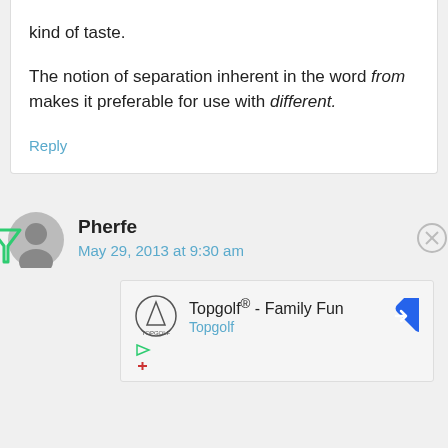kind of taste.
The notion of separation inherent in the word from makes it preferable for use with different.
Reply
Pherfe
May 29, 2013 at 9:30 am
[Figure (infographic): Advertisement: Topgolf® - Family Fun, Topgolf logo and navigation arrow icon]
Topgolf® - Family Fun
Topgolf